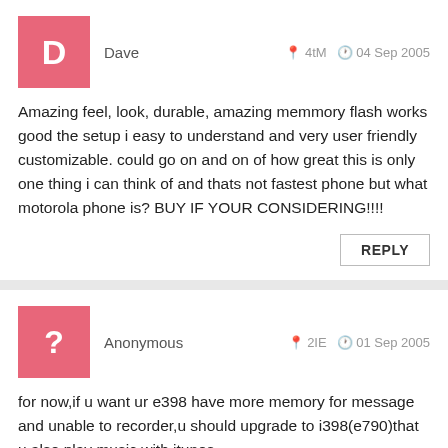Dave   4tM   04 Sep 2005
Amazing feel, look, durable, amazing memmory flash works good the setup i easy to understand and very user friendly customizable. could go on and on of how great this is only one thing i can think of and thats not fastest phone but what motorola phone is? BUY IF YOUR CONSIDERING!!!!
REPLY
Anonymous   2IE   01 Sep 2005
for now,if u want ur e398 have more memory for message and unable to recorder,u should upgrade to i398(e790)that u also play music with itunes
REPLY